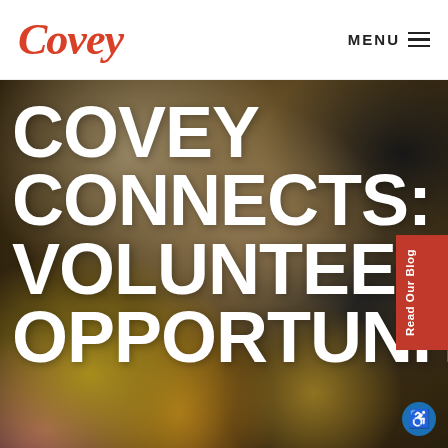Covey | MENU
[Figure (photo): Background photo of a person with pink/red hair bending down tending to yellow and pink flowers in a garden area, with another person in a dark hoodie visible on the right. Warm brown and earthy tones with colorful flowers in the foreground.]
COVEY CONNECTS: VOLUNTEER OPPORTUNITIE
Read Our Blog